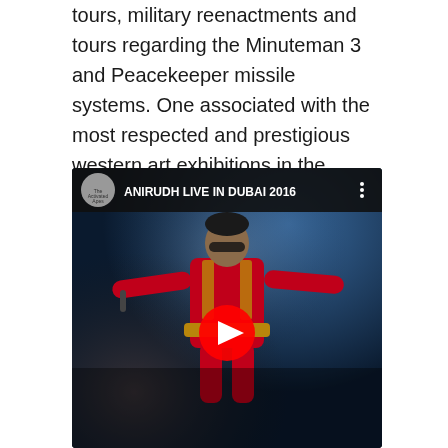tours, military reenactments and tours regarding the Minuteman 3 and Peacekeeper missile systems. One associated with the most respected and prestigious western art exhibitions in the Rocky Hill Region.
[Figure (screenshot): YouTube video thumbnail showing 'ANIRUDH LIVE IN DUBAI 2016' with a performer in a red jeweled jacket on stage with blue stage lighting, and a YouTube play button overlay.]